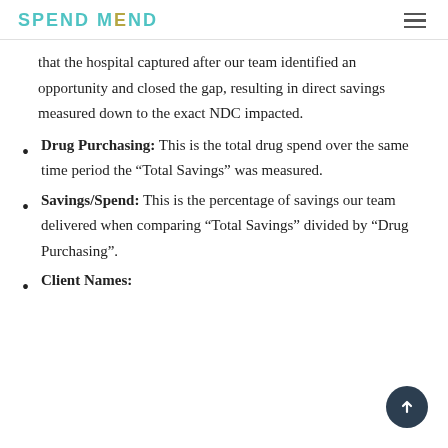SPEND MEND
that the hospital captured after our team identified an opportunity and closed the gap, resulting in direct savings measured down to the exact NDC impacted.
Drug Purchasing: This is the total drug spend over the same time period the “Total Savings” was measured.
Savings/Spend: This is the percentage of savings our team delivered when comparing “Total Savings” divided by “Drug Purchasing”.
Client Names: